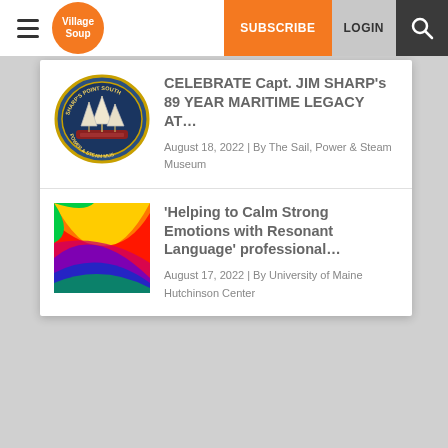Village Soup | SUBSCRIBE | LOGIN
CELEBRATE Capt. JIM SHARP's 89 YEAR MARITIME LEGACY AT…
August 18, 2022 | By The Sail, Power & Steam Museum
'Helping to Calm Strong Emotions with Resonant Language' professional…
August 17, 2022 | By University of Maine Hutchinson Center